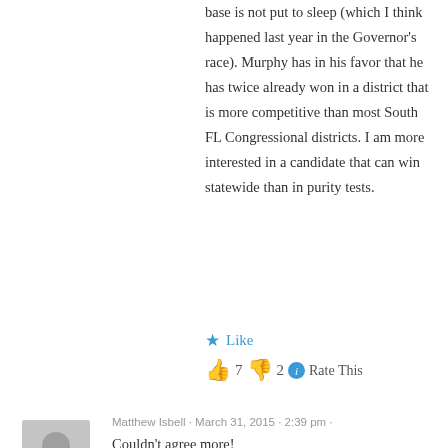base is not put to sleep (which I think happened last year in the Governor's race). Murphy has in his favor that he has twice already won in a district that is more competitive than most South FL Congressional districts. I am more interested in a candidate that can win statewide than in purity tests.
★ Like
👍 7 👎 2 ℹ Rate This
Matthew Isbell · March 31, 2015 · 2:39 pm ·
Couldn't agree more!
★ Like
👍 3 👎 5 ℹ Rate This
Richard Paul Dembinsky · March 31, 2015 · 524 pm ·
Good Evening: The above article is selling Patrick